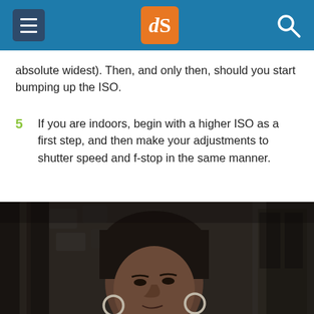dPS (digital Photography School) header navigation
absolute widest). Then, and only then, should you start bumping up the ISO.
5  If you are indoors, begin with a higher ISO as a first step, and then make your adjustments to shutter speed and f-stop in the same manner.
[Figure (photo): Portrait of an elderly Asian woman wearing traditional black clothing and a black head covering, with large silver hoop earrings, photographed outdoors against a stone wall background. Dark, moody lighting.]